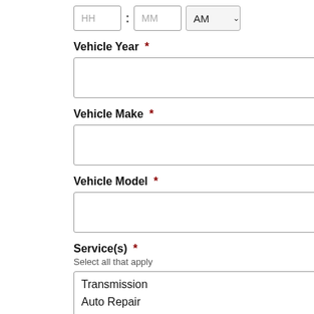[Figure (screenshot): Time input fields: HH text box, colon separator, MM text box, and AM dropdown selector]
Vehicle Year *
[Figure (screenshot): Empty text input box for Vehicle Year]
Vehicle Make *
[Figure (screenshot): Empty text input box for Vehicle Make]
Vehicle Model *
[Figure (screenshot): Empty text input box for Vehicle Model]
Service(s) *
Select all that apply
[Figure (screenshot): Services list box showing: Transmission, Auto Repair, Check Engine Light]